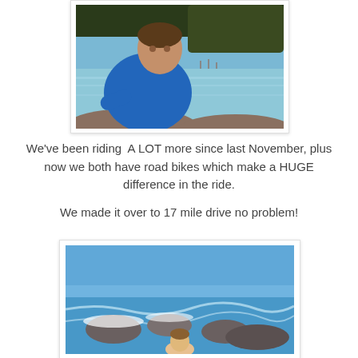[Figure (photo): A man in a blue shirt sitting near the ocean with trees in the background, looking at the camera. Clear blue water and a marina visible in the distance.]
We've been riding  A LOT more since last November, plus now we both have road bikes which make a HUGE difference in the ride.

We made it over to 17 mile drive no problem!
[Figure (photo): Coastal scene with rocky shoreline, waves, blue sky, and a person visible near the rocks. Ocean and rocks in foreground with clear blue sky.]